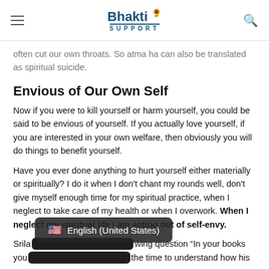Bhakti Support
often cut our own throats. So atma ha can also be translated as spiritual suicide.
Envious of Our Own Self
Now if you were to kill yourself or harm yourself, you could be said to be envious of yourself. If you actually love yourself, if you are interested in your own welfare, then obviously you will do things to benefit yourself.
Have you ever done anything to hurt yourself either materially or spiritually? I do it when I don't chant my rounds well, don't give myself enough time for my spiritual practice, when I neglect to take care of my health or when I overwork. When I neglect my spiritual life I am acting out of self-envy.
Srila... wing question “In your books you... the time to understand how his
English (United States)